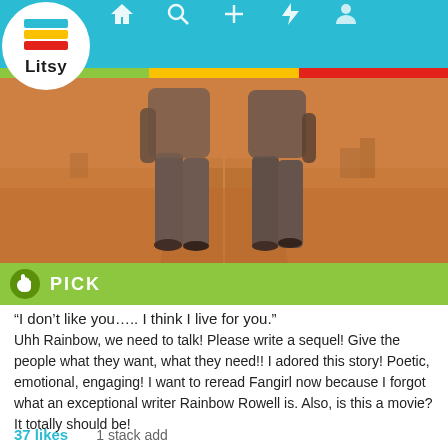[Figure (screenshot): Litsy app navigation bar with logo and icons for home, search, add, notifications, and profile on a teal background]
[Figure (photo): Book cover image showing two people walking away on a road with an orange/warm tinted background]
PICK
“I don’t like you….. I think I live for you.”
Uhh Rainbow, we need to talk! Please write a sequel! Give the people what they want, what they need!! I adored this story! Poetic, emotional, engaging! I want to reread Fangirl now because I forgot what an exceptional writer Rainbow Rowell is. Also, is this a movie? It totally should be!
37 likes    1 stack add